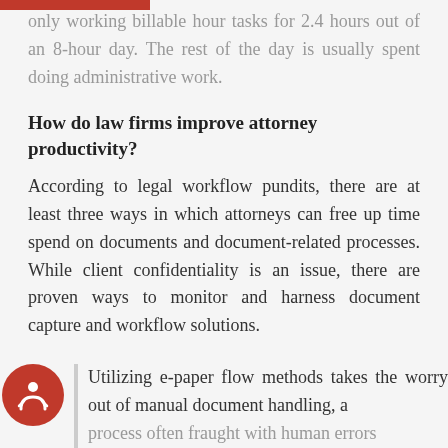only working billable hour tasks for 2.4 hours out of an 8-hour day. The rest of the day is usually spent doing administrative work.
How do law firms improve attorney productivity?
According to legal workflow pundits, there are at least three ways in which attorneys can free up time spend on documents and document-related processes. While client confidentiality is an issue, there are proven ways to monitor and harness document capture and workflow solutions.
Utilizing e-paper flow methods takes the worry out of manual document handling, a process often fraught with human errors